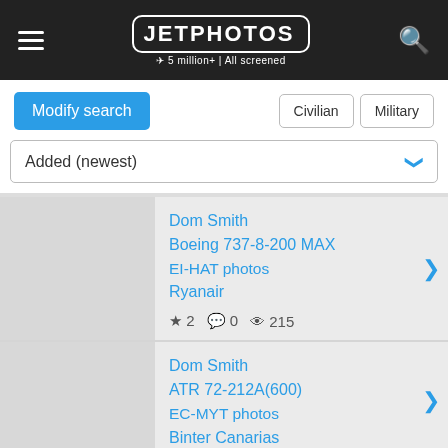JETPHOTOS — 5 million+ | All screened
Modify search | Civilian | Military
Added (newest)
Dom Smith
Boeing 737-8-200 MAX
EI-HAT photos
Ryanair
★ 2  💬 0  👁 215
Dom Smith
ATR 72-212A(600)
EC-MYT photos
Binter Canarias